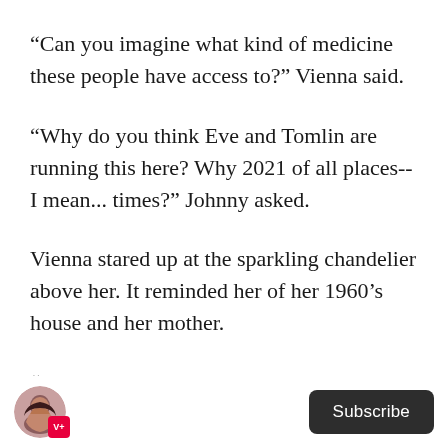“Can you imagine what kind of medicine these people have access to?” Vienna said.
“Why do you think Eve and Tomlin are running this here? Why 2021 of all places-- I mean... times?” Johnny asked.
Vienna stared up at the sparkling chandelier above her. It reminded her of her 1960’s house and her mother.
“It’s home,” she said